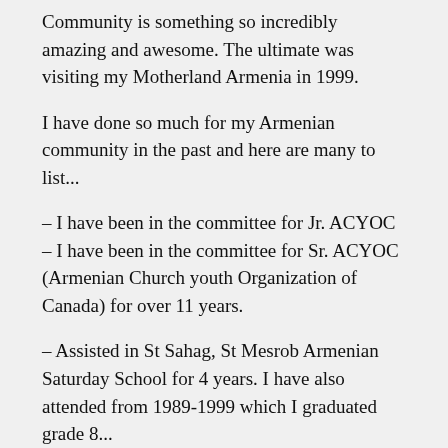Community is something so incredibly amazing and awesome. The ultimate was visiting my Motherland Armenia in 1999.
I have done so much for my Armenian community in the past and here are many to list...
– I have been in the committee for Jr. ACYOC
– I have been in the committee for Sr. ACYOC (Armenian Church youth Organization of Canada) for over 11 years.
– Assisted in St Sahag, St Mesrob Armenian Saturday School for 4 years. I have also attended from 1989-1999 which I graduated grade 8...
– Assisted in the Armenian Sunday School for 2 years.
– I have been in Nor Serount (New Youth) New Generation) Newsletter publication for 2 years